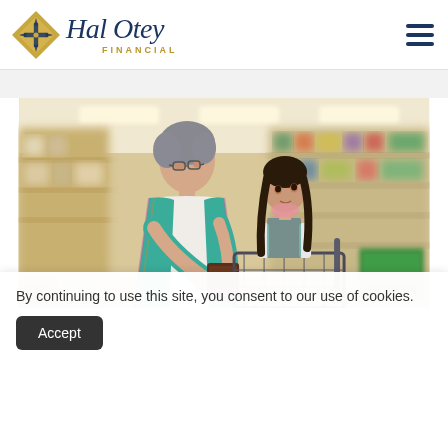[Figure (logo): Hal Otey Financial logo — gold diamond emblem on left, script 'Hal Otey' in navy blue, 'FINANCIAL' in gold spaced caps below]
[Figure (photo): Elderly woman in plaid shirt and vest shopping with young girl in a grocery store, holding a product over a shopping cart, store shelves visible in background]
By continuing to use this site, you consent to our use of cookies.
Accept